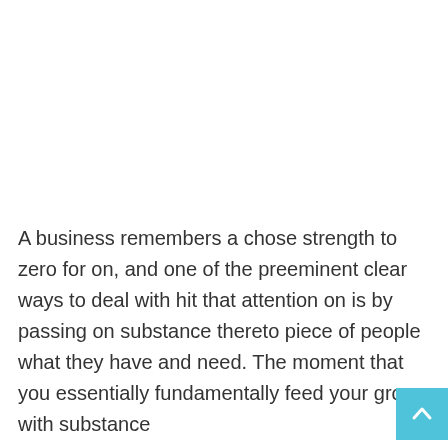A business remembers a chose strength to zero for on, and one of the preeminent clear ways to deal with hit that attention on is by passing on substance thereto piece of people what they have and need. The moment that you essentially fundamentally feed your group with substance